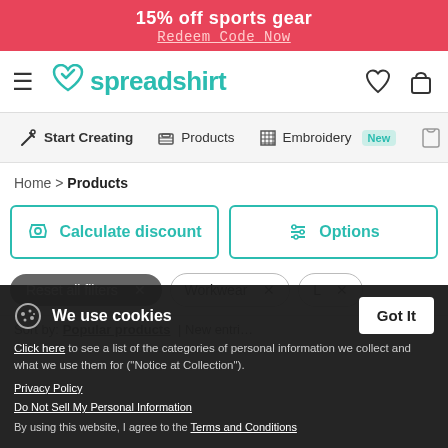15% off sports gear
Redeem Code Now
[Figure (logo): Spreadshirt logo with teal heart icon, hamburger menu, and nav icons for wishlist and cart]
Start Creating | Products | Embroidery New | (gift icon)
Home > Products
Calculate discount | Options
Reset all filters × | Workwear × | L ×
Sort by: Popular products | New entri...
Need your product ASAP? Calculate here shipping time and costs
We use cookies
Click here to see a list of the categories of personal information we collect and what we use them for ("Notice at Collection").
Privacy Policy
Do Not Sell My Personal Information
By using this website, I agree to the Terms and Conditions